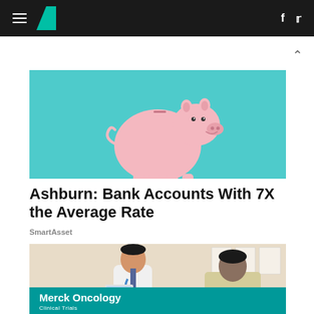HuffPost navigation with hamburger menu, logo, Facebook and Twitter icons
[Figure (photo): Pink piggy bank on a teal/turquoise background]
Ashburn: Bank Accounts With 7X the Average Rate
SmartAsset
[Figure (photo): Doctor in white coat with stethoscope consulting with patient; Merck Oncology Clinical Trials banner overlay at bottom]